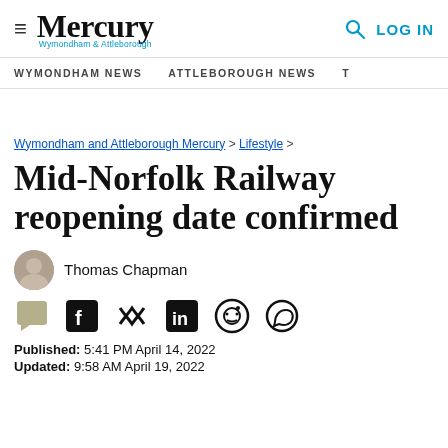Mercury Wymondham & Attleborough — LOG IN
WYMONDHAM NEWS   ATTLEBOROUGH NEWS
Wymondham and Attleborough Mercury > Lifestyle >
Mid-Norfolk Railway reopening date confirmed
Thomas Chapman
Published: 5:41 PM April 14, 2022
Updated: 9:58 AM April 19, 2022